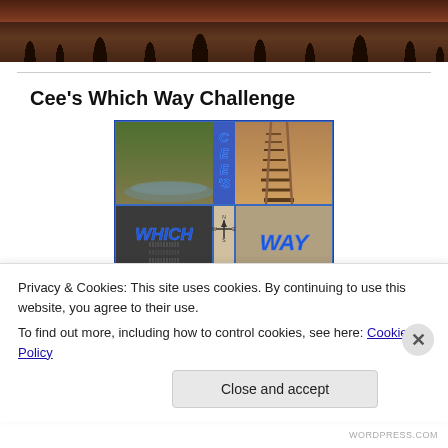[Figure (photo): Header photo showing silhouetted trees against an orange-red sunset sky]
Cee's Which Way Challenge
[Figure (illustration): Cee's Which Way Challenge composite image with four photo quadrants showing creek, railroad tracks, crowd, and a compass rose, with blue italic text reading CEES WHICH WAY]
Privacy & Cookies: This site uses cookies. By continuing to use this website, you agree to their use.
To find out more, including how to control cookies, see here: Cookie Policy
Close and accept